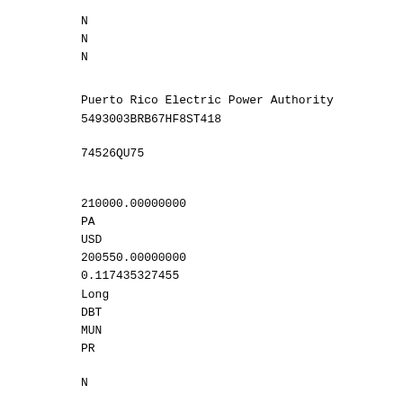N
N
N
Puerto Rico Electric Power Authority
5493003BRB67HF8ST418
74526QU75
210000.00000000
PA
USD
200550.00000000
0.117435327455
Long
DBT
MUN
PR
N
2
2037-07-01
Fixed
5.00000000